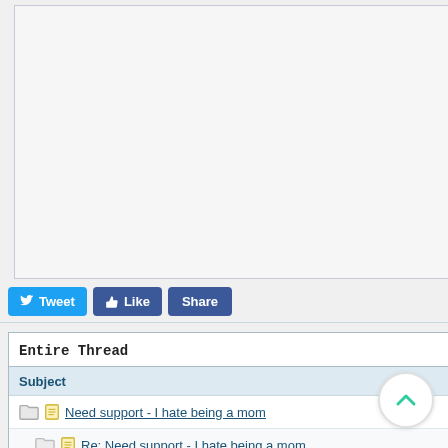[Figure (screenshot): Blank/empty content panel area at the top of the page]
[Figure (infographic): Social sharing buttons row: Tweet (blue, Twitter bird icon), Like (dark blue, thumbs up icon), Share (dark blue)]
Entire Thread
Subject
Need support - I hate being a mom
Re: Need support - I hate being a mom